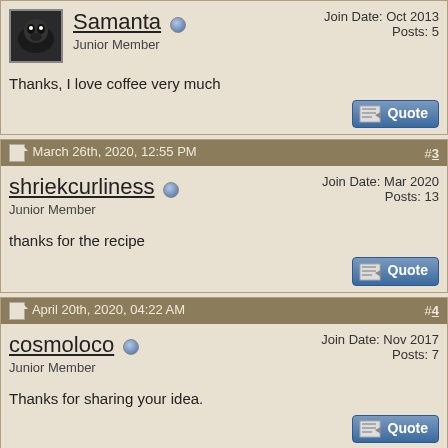Samanta — Junior Member | Join Date: Oct 2013 | Posts: 5
Thanks, I love coffee very much
March 26th, 2020, 12:55 PM #3
shriekcurliness — Junior Member | Join Date: Mar 2020 | Posts: 13
thanks for the recipe
April 20th, 2020, 04:22 AM #4
cosmoloco — Junior Member | Join Date: Nov 2017 | Posts: 7
Thanks for sharing your idea.
July 27th, 2021, 08:13 PM #5
sana — banned user | Join Date: Jul 2021 | Location: United States | Posts: 7